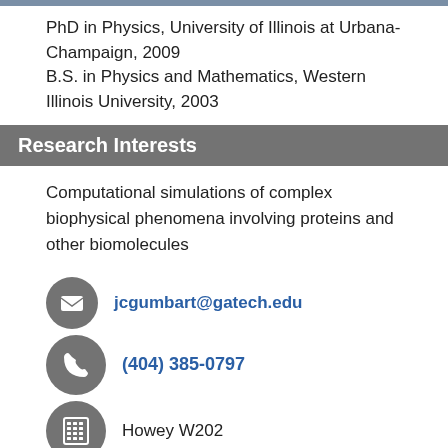PhD in Physics, University of Illinois at Urbana-Champaign, 2009
B.S. in Physics and Mathematics, Western Illinois University, 2003
Research Interests
Computational simulations of complex biophysical phenomena involving proteins and other biomolecules
jcgumbart@gatech.edu
(404) 385-0797
Howey W202
Gumbart Lab Website
Videos